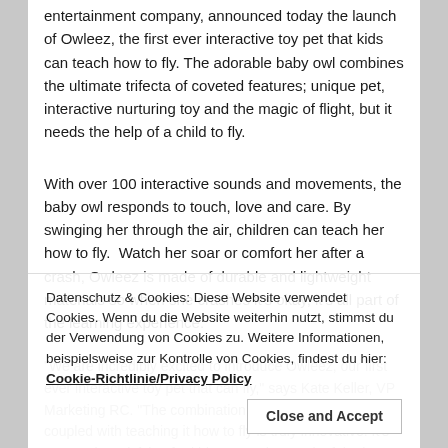entertainment company, announced today the launch of Owleez, the first ever interactive toy pet that kids can teach how to fly. The adorable baby owl combines the ultimate trifecta of coveted features; unique pet, interactive nurturing toy and the magic of flight, but it needs the help of a child to fly.
With over 100 interactive sounds and movements, the baby owl responds to touch, love and care. By swinging her through the air, children can teach her how to fly.  Watch her soar or comfort her after a crash, Owleez is made of durable and lightweight materials so when she crashes it's okay, it's all part of the learning experience.
"We are incredibly excited to introduce Owleez, our first ever interactive toy pet that can fly," says Kate Keller, VP Marketing RC. "The combination of an interactive toy pet coupled with teaching it how to fly is truly innovative. It's extremely satisfying for kids to see the result of the love and care they put into their own Owleez toy pet. They experience the delight and reward knowing it
Datenschutz & Cookies: Diese Website verwendet Cookies. Wenn du die Website weiterhin nutzt, stimmst du der Verwendung von Cookies zu. Weitere Informationen, beispielsweise zur Kontrolle von Cookies, findest du hier: Cookie-Richtlinie/Privacy Policy
Close and Accept